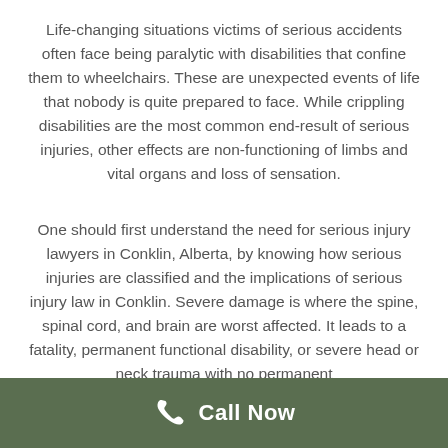Life-changing situations victims of serious accidents often face being paralytic with disabilities that confine them to wheelchairs. These are unexpected events of life that nobody is quite prepared to face. While crippling disabilities are the most common end-result of serious injuries, other effects are non-functioning of limbs and vital organs and loss of sensation.
One should first understand the need for serious injury lawyers in Conklin, Alberta, by knowing how serious injuries are classified and the implications of serious injury law in Conklin. Severe damage is where the spine, spinal cord, and brain are worst affected. It leads to a fatality, permanent functional disability, or severe head or neck trauma with no permanent
Call Now